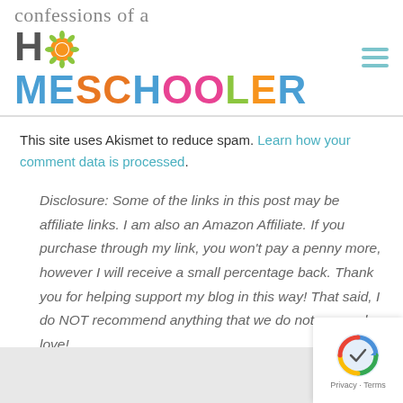confessions of a HOMESCHOOLER
This site uses Akismet to reduce spam. Learn how your comment data is processed.
Disclosure: Some of the links in this post may be affiliate links. I am also an Amazon Affiliate. If you purchase through my link, you won't pay a penny more, however I will receive a small percentage back. Thank you for helping support my blog in this way! That said, I do NOT recommend anything that we do not use and love!
[Figure (logo): reCAPTCHA badge with Privacy and Terms text]